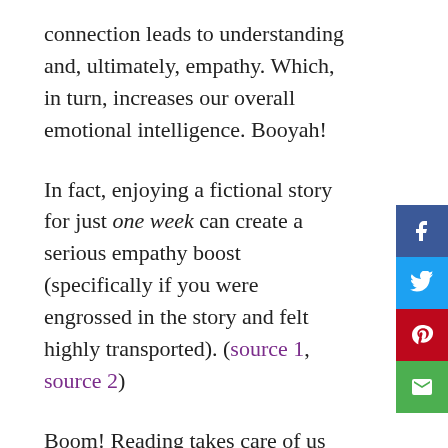connection leads to understanding and, ultimately, empathy. Which, in turn, increases our overall emotional intelligence. Booyah!
In fact, enjoying a fictional story for just one week can create a serious empathy boost (specifically if you were engrossed in the story and felt highly transported). (source 1, source 2)
Boom! Reading takes care of us and makes us better. How cool is that?
FINAL THOUGHTS ON THE BENEFITS OF READING BOOKS